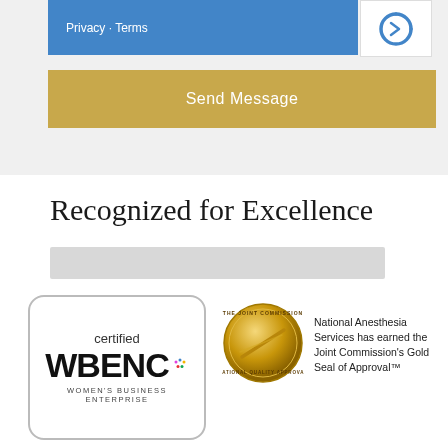Privacy · Terms
Send Message
Recognized for Excellence
[Figure (logo): WBENC certified Women's Business Enterprise badge with rounded rectangle border]
[Figure (logo): Joint Commission gold seal of approval circular medallion]
National Anesthesia Services has earned the Joint Commission's Gold Seal of Approval™